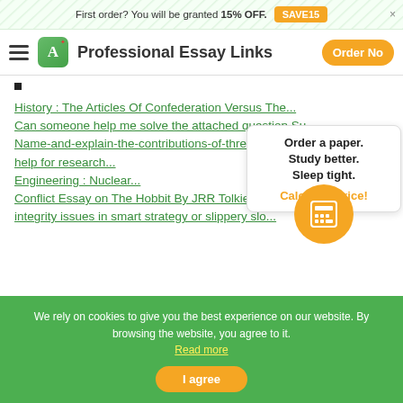First order? You will be granted 15% OFF. SAVE15 ×
Professional Essay Links  Order Now
History : The Articles Of Confederation Versus The...
Can someone help me solve the attached question Su...
Name-and-explain-the-contributions-of-thre NON-Af...
help for research...
Engineering : Nuclear...
Conflict Essay on The Hobbit By JRR Tolkien...
integrity issues in smart strategy or slippery slo...
Order a paper. Study better. Sleep tight. Calculate Price!
We rely on cookies to give you the best experience on our website. By browsing the website, you agree to it. Read more
I agree